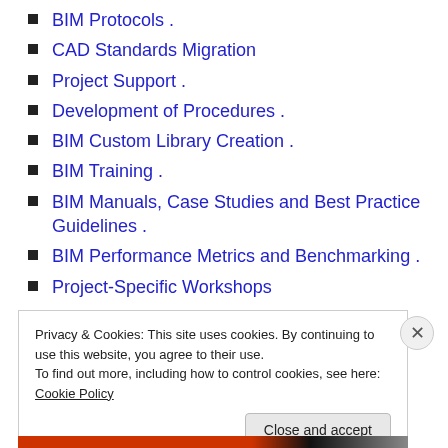BIM Protocols .
CAD Standards Migration
Project Support .
Development of Procedures .
BIM Custom Library Creation .
BIM Training .
BIM Manuals, Case Studies and Best Practice Guidelines .
BIM Performance Metrics and Benchmarking .
Project-Specific Workshops
CASE innovates – comes up with new software, systems,
Privacy & Cookies: This site uses cookies. By continuing to use this website, you agree to their use.
To find out more, including how to control cookies, see here: Cookie Policy
Close and accept